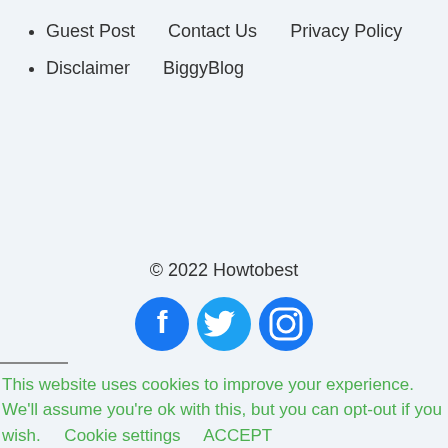Guest Post   Contact Us   Privacy Policy
Disclaimer   BiggyBlog
© 2022 Howtobest
[Figure (illustration): Three social media icons: Facebook (blue circle with f), Twitter (blue bird), Instagram (blue camera outline)]
This website uses cookies to improve your experience. We'll assume you're ok with this, but you can opt-out if you wish.    Cookie settings    ACCEPT